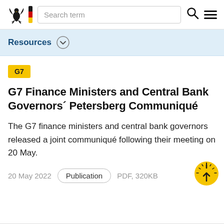Search term
Resources
G7
G7 Finance Ministers and Central Bank Governors´ Petersberg Communiqué
The G7 finance ministers and central bank governors released a joint communiqué following their meeting on 20 May.
20 May 2022   Publication   PDF, 320KB